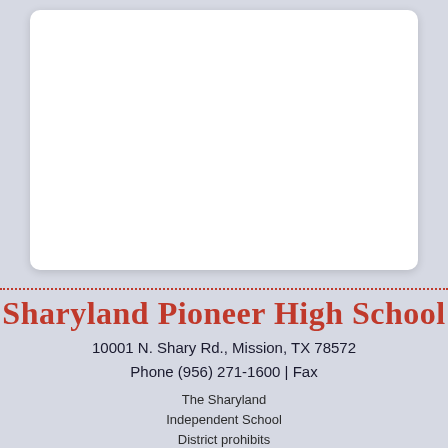[Figure (other): White rounded rectangle card area, mostly blank white space]
Sharyland Pioneer High School
10001 N. Shary Rd., Mission, TX 78572
Phone (956) 271-1600 | Fax
The Sharyland Independent School District prohibits discrimination, including harassment, against any